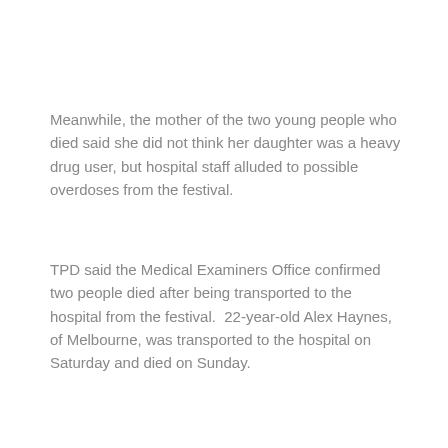Meanwhile, the mother of the two young people who died said she did not think her daughter was a heavy drug user, but hospital staff alluded to possible overdoses from the festival.
TPD said the Medical Examiners Office confirmed two people died after being transported to the hospital from the festival.  22-year-old Alex Haynes, of Melbourne, was transported to the hospital on Saturday and died on Sunday.